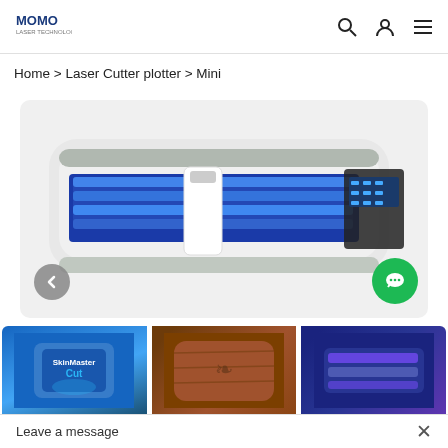[Figure (logo): MOMO brand logo, blue text with small subtitle]
Home > Laser Cutter plotter > Mini
[Figure (photo): Mini laser cutter plotter machine with blue illuminated cutting area, white housing, and control panel on the right side]
[Figure (photo): Thumbnail 1: SkinMaster Cut product box with logo on blue background]
[Figure (photo): Thumbnail 2: Laser engraved wooden phone case with decorative pattern]
[Figure (photo): Thumbnail 3: Close-up of laser cutter with blue/purple illumination]
Leave a message